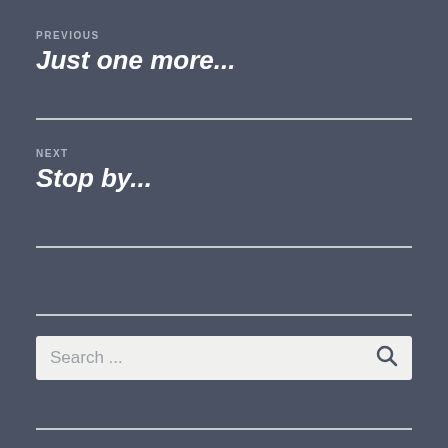PREVIOUS
Just one more...
NEXT
Stop by...
[Figure (screenshot): Search input box with placeholder text 'Search ...' and a search icon on the right]